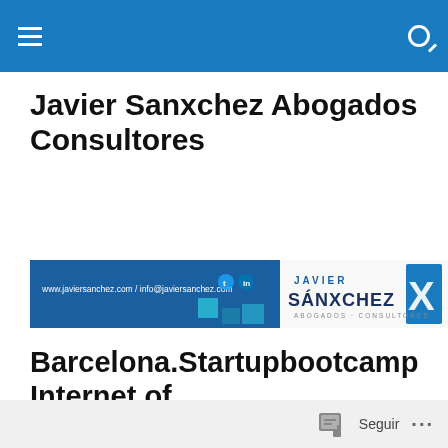Javier Sanxchez Abogados Consultores
[Figure (logo): Javier Sanxchez Abogados Consultores logo banner with website and social media icons, blue background with teal accents and stylized JS mark]
Barcelona.Startupbootcamp Internet of Things.Applications Close 20Nov14
[Figure (photo): Dark/black image bar at bottom of page]
Seguir ...